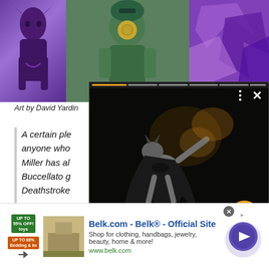[Figure (illustration): Comic book art strip showing three panels: purple-toned Batman figure on left, colorful action character in middle (with teal helmet and chain), purple geometric shapes on right]
Art by David Yardin
A certain ple... anyone who... Miller has al... Buccellato g... Deathstroke...
[Figure (screenshot): Video popup overlay showing Batman figure in dark scene. Title overlay reads: Mezco Toyz announces One:12CollectiveGolden Age Batman. Orange arrow button on right. Progress bars at top. Close X and menu dots controls.]
[Figure (screenshot): Advertisement banner: Belk.com - Belk® - Official Site. Shop for clothing, handbags, jewelry, beauty, home & more! www.belk.com. Shows thumbnail image and circular arrow button.]